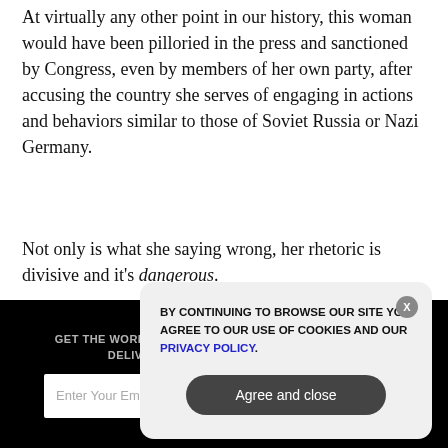At virtually any other point in our history, this woman would have been pilloried in the press and sanctioned by Congress, even by members of her own party, after accusing the country she serves of engaging in actions and behaviors similar to those of Soviet Russia or Nazi Germany.
Not only is what she saying wrong, her rhetoric is divisive and it's dangerous.
GET THE WORLD'S BEST NATURAL HEALTH NEWSLETTER DELIVERED STRAIGHT TO YOUR INBOX.
BY CONTINUING TO BROWSE OUR SITE YOU AGREE TO OUR USE OF COOKIES AND OUR PRIVACY POLICY.
Agree and close